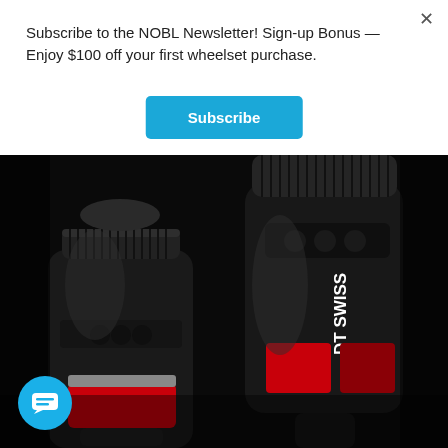Subscribe to the NOBL Newsletter! Sign-up Bonus — Enjoy $100 off your first wheelset purchase.
Subscribe
[Figure (photo): Close-up product photo of two DT Swiss bicycle hub components on a dark/black background. The hubs show black machined metal bodies with red accents. The right hub has 'DT SWISS' text printed vertically on it in white letters.]